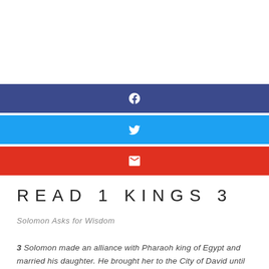[Figure (infographic): Facebook share button bar (dark blue with Facebook icon)]
[Figure (infographic): Twitter share button bar (light blue with Twitter bird icon)]
[Figure (infographic): Email share button bar (red with envelope icon)]
READ 1 KINGS 3
Solomon Asks for Wisdom
3 Solomon made an alliance with Pharaoh king of Egypt and married his daughter. He brought her to the City of David until he finished building his palace and the temple of the Lord, and the wall around Jerusalem. 2 The people, however, were